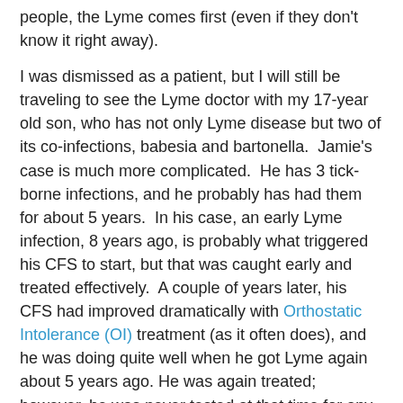people, the Lyme comes first (even if they don't know it right away).
I was dismissed as a patient, but I will still be traveling to see the Lyme doctor with my 17-year old son, who has not only Lyme disease but two of its co-infections, babesia and bartonella. Jamie's case is much more complicated. He has 3 tick-borne infections, and he probably has had them for about 5 years. In his case, an early Lyme infection, 8 years ago, is probably what triggered his CFS to start, but that was caught early and treated effectively. A couple of years later, his CFS had improved dramatically with Orthostatic Intolerance (OI) treatment (as it often does), and he was doing quite well when he got Lyme again about 5 years ago. He was again treated; however, he was never tested at that time for any other tick-borne infections.
Experts say that it is impossible to get rid of Lyme completely when there are co-infections present, so we think that is what happened with him - he probably had these infections all along, but we didn't know it. He improved somewhat with standard Lyme treatment (30 days of doxycycline) but did not